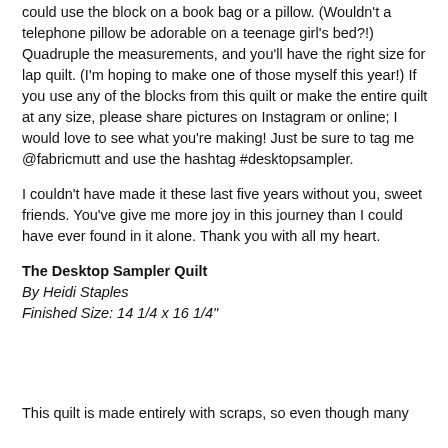could use the block on a book bag or a pillow. (Wouldn't a telephone pillow be adorable on a teenage girl's bed?!) Quadruple the measurements, and you'll have the right size for lap quilt. (I'm hoping to make one of those myself this year!) If you use any of the blocks from this quilt or make the entire quilt at any size, please share pictures on Instagram or online; I would love to see what you're making! Just be sure to tag me @fabricmutt and use the hashtag #desktopsampler.
I couldn't have made it these last five years without you, sweet friends. You've give me more joy in this journey than I could have ever found in it alone. Thank you with all my heart.
The Desktop Sampler Quilt
By Heidi Staples
Finished Size: 14 1/4 x 16 1/4"
This quilt is made entirely with scraps, so even though many